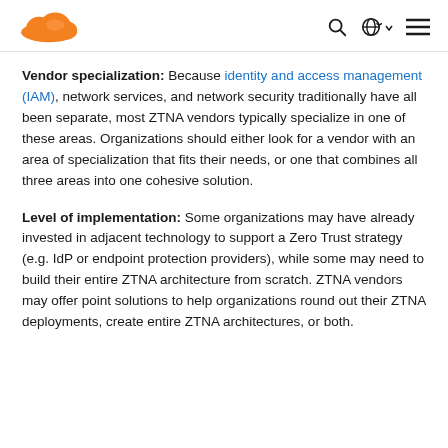Cloudflare navigation header with logo, search, language, and menu icons
Vendor specialization: Because identity and access management (IAM), network services, and network security traditionally have all been separate, most ZTNA vendors typically specialize in one of these areas. Organizations should either look for a vendor with an area of specialization that fits their needs, or one that combines all three areas into one cohesive solution.
Level of implementation: Some organizations may have already invested in adjacent technology to support a Zero Trust strategy (e.g. IdP or endpoint protection providers), while some may need to build their entire ZTNA architecture from scratch. ZTNA vendors may offer point solutions to help organizations round out their ZTNA deployments, create entire ZTNA architectures, or both.